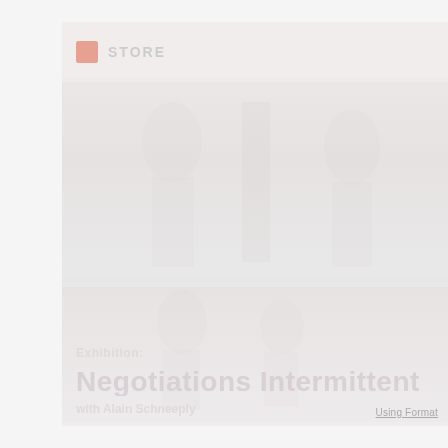STORE
[Figure (photo): Faded/washed out photograph of sculptures or statues, very light exposure, spanning most of the card area]
Exhibition:
Negotiations Intermittent
with Alain Schneeply
Using Format